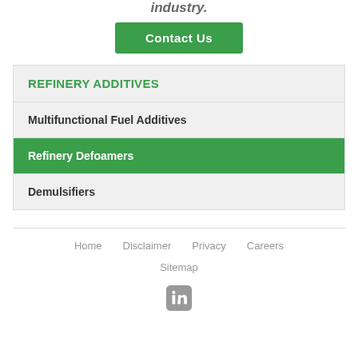industry.
Contact Us
REFINERY ADDITIVES
Multifunctional Fuel Additives
Refinery Defoamers
Demulsifiers
Home   Disclaimer   Privacy   Careers   Sitemap